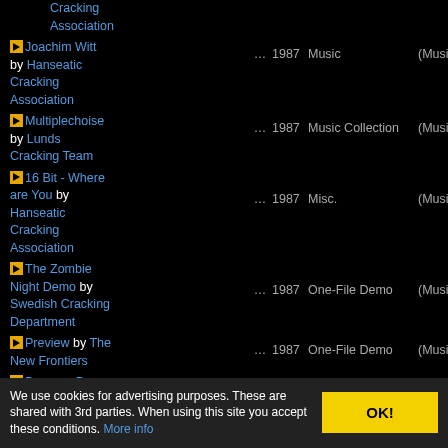Cracking Association
Joachim Witt by Hanseatic Cracking Association ... 1987 Music (Music)
Multiplechoise by Lunds Cracking Team ... 1987 Music Collection (Music)
16 Bit - Where are You by Hanseatic Cracking Association ... 1987 Misc. (Music)
The Zombie Night Demo by Swedish Cracking Department ... 1987 One-File Demo (Music)
Preview by The New Frontiers ... 1987 One-File Demo (Music)
Dograce Demo by GCG Crew ... 1987 Game (Music)
Soundshock II by The Night Operation ... 1987 Music (Music)
We use cookies for advertising purposes. These are shared with 3rd parties. When using this site you accept these conditions. More info